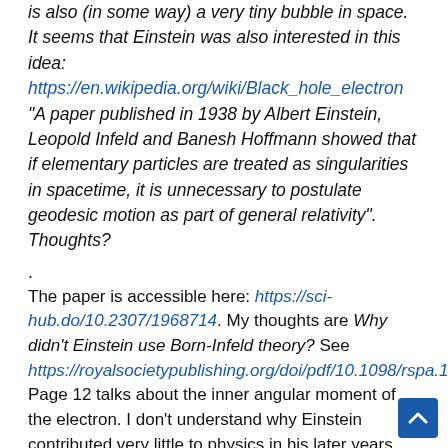is also (in some way) a very tiny bubble in space. It seems that Einstein was also interested in this idea: https://en.wikipedia.org/wiki/Black_hole_electron "A paper published in 1938 by Albert Einstein, Leopold Infeld and Banesh Hoffmann showed that if elementary particles are treated as singularities in spacetime, it is unnecessary to postulate geodesic motion as part of general relativity". Thoughts?
.
The paper is accessible here: https://sci-hub.do/10.2307/1968714. My thoughts are Why didn't Einstein use Born-Infeld theory? See https://royalsocietypublishing.org/doi/pdf/10.1098/rspa.1935.0093. Page 12 talks about the inner angular moment of the electron. I don't understand why Einstein contributed very little to physics in his later years. Or wh